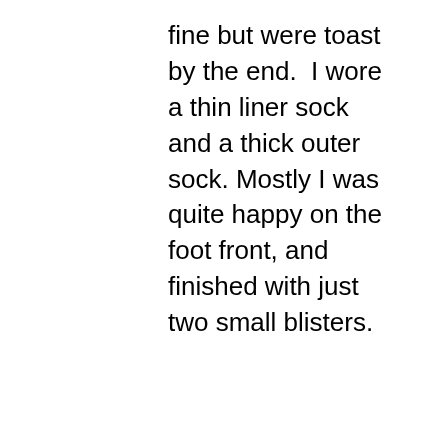fine but were toast by the end.  I wore a thin liner sock and a thick outer sock. Mostly I was quite happy on the foot front, and finished with just two small blisters.